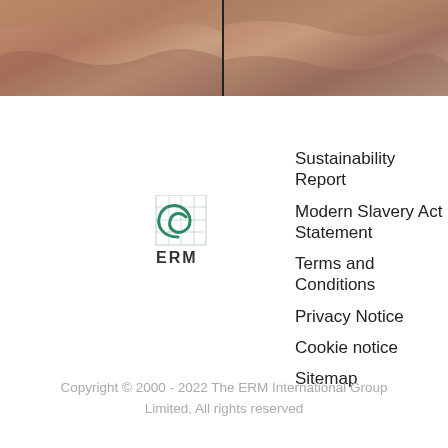[Figure (photo): Two side-by-side photos of a dramatic sky with warm sunset tones, separated by a dark vertical divider.]
[Figure (logo): ERM logo: a stylized green spiral/wave with a grid square, with 'ERM' text below in dark letters.]
Sustainability Report
Modern Slavery Act Statement
Terms and Conditions
Privacy Notice
Cookie notice
Sitemap
Copyright © 2000 - 2022 The ERM International Group Limited, All rights reserved